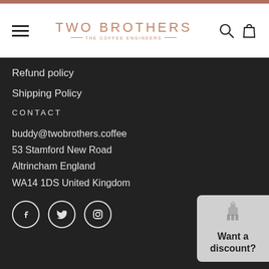Two Brothers – The Coffee Engineers
Refund policy
Shipping Policy
CONTACT
buddy@twobrothers.coffee
53 Stamford New Road
Altrincham England
WA14 1DS United Kingdom
[Figure (other): Social media icons: Facebook, Twitter, Instagram in circles]
[Figure (other): Discount widget popup with gift icon and text 'Want a discount?']